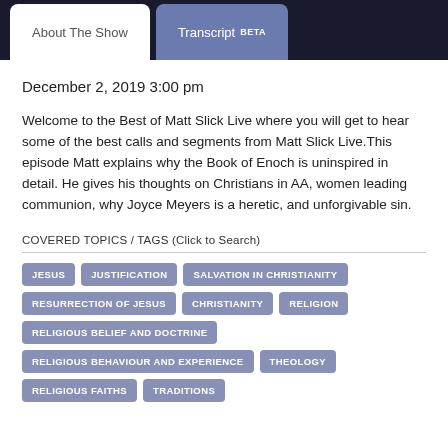About The Show | Transcript BETA
December 2, 2019 3:00 pm
Welcome to the Best of Matt Slick Live where you will get to hear some of the best calls and segments from Matt Slick Live.This episode Matt explains why the Book of Enoch is uninspired in detail. He gives his thoughts on Christians in AA, women leading communion, why Joyce Meyers is a heretic, and unforgivable sin.
COVERED TOPICS / TAGS (Click to Search)
JESUS
JUSTIFICATION
SALVATION IN CHRISTIANITY
RESURRECTION OF JESUS
CHRISTIANITY
RELIGION
RELIGIOUS BELIEF AND DOCTRINE
RELIGIOUS BEHAVIOUR AND EXPERIENCE
THEOLOGY
RELIGIOUS FAITHS
TRADITIONS